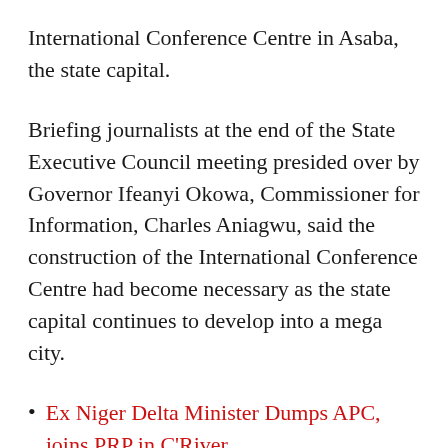International Conference Centre in Asaba, the state capital.
Briefing journalists at the end of the State Executive Council meeting presided over by Governor Ifeanyi Okowa, Commissioner for Information, Charles Aniagwu, said the construction of the International Conference Centre had become necessary as the state capital continues to develop into a mega city.
Ex Niger Delta Minister Dumps APC, joins PRP in C'River